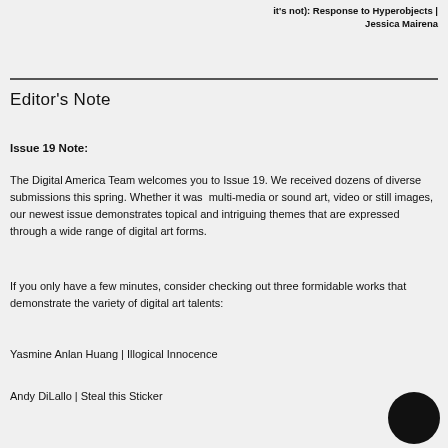it's not): Response to Hyperobjects | Jessica Mairena
Editor's Note
Issue 19 Note:
The Digital America Team welcomes you to Issue 19. We received dozens of diverse submissions this spring. Whether it was multi-media or sound art, video or still images, our newest issue demonstrates topical and intriguing themes that are expressed through a wide range of digital art forms.
If you only have a few minutes, consider checking out three formidable works that demonstrate the variety of digital art talents:
Yasmine Anlan Huang | Illogical Innocence
Andy DiLallo | Steal this Sticker